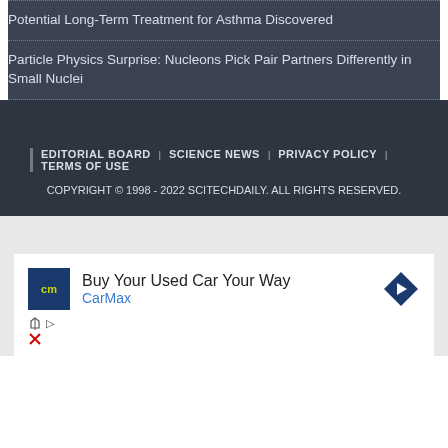Potential Long-Term Treatment for Asthma Discovered
Particle Physics Surprise: Nucleons Pick Pair Partners Differently in Small Nuclei
EDITORIAL BOARD | SCIENCE NEWS | PRIVACY POLICY | TERMS OF USE
COPYRIGHT © 1998 - 2022 SCITECHDAILY. ALL RIGHTS RESERVED.
[Figure (screenshot): Advertisement banner for CarMax: 'Buy Your Used Car Your Way' with CarMax logo and navigation arrow icon]